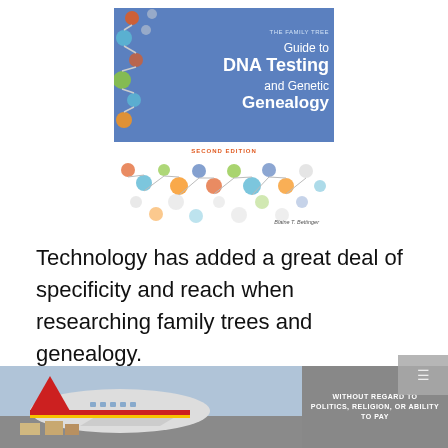[Figure (illustration): Book cover of 'The Family Tree Guide to DNA Testing and Genetic Genealogy, Second Edition' by Blaine T. Bettinger. Blue cover with DNA double helix made of colorful circle icons.]
Technology has added a great deal of specificity and reach when researching family trees and genealogy.
[Figure (photo): Advertisement banner showing an airplane being loaded with cargo, with text 'WITHOUT REGARD TO POLITICS, RELIGION, OR ABILITY TO PAY']